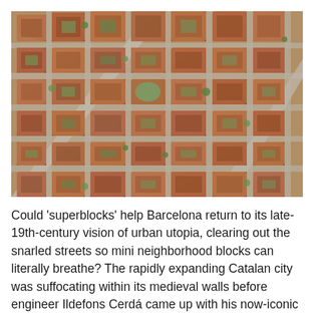[Figure (photo): Aerial photograph of Barcelona's Eixample district showing the characteristic octagonal city blocks (superblocks) arranged in a grid pattern, with orange/terracotta rooftops, green inner courtyards, and wide diagonal avenues cutting through the urban fabric.]
Could 'superblocks' help Barcelona return to its late-19th-century vision of urban utopia, clearing out the snarled streets so mini neighborhood blocks can literally breathe? The rapidly expanding Catalan city was suffocating within its medieval walls before engineer Ildefons Cerdá came up with his now-iconic blocks to the urban conundrum, built